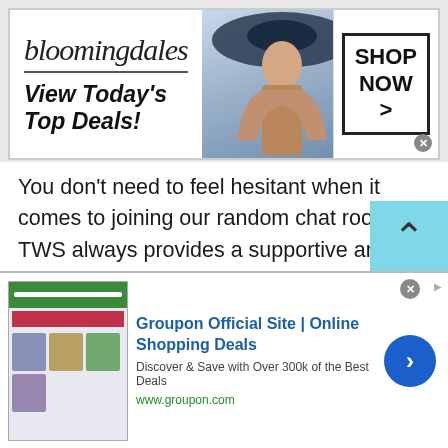[Figure (screenshot): Bloomingdale's advertisement banner with logo, tagline 'View Today's Top Deals!', woman in hat image, and 'SHOP NOW >' button]
You don't need to feel hesitant when it comes to joining our random chat rooms. TWS always provides a supportive and safe online community to its users. So, you can open up and share whatever you want without thinking you are talking to strangers online. You will surely meet new people or find friends who will not be going to judge you rather give you utter support to beat loneliness.
Flirt chat
[Figure (screenshot): Groupon Official Site advertisement banner with thumbnail images and blue arrow button]